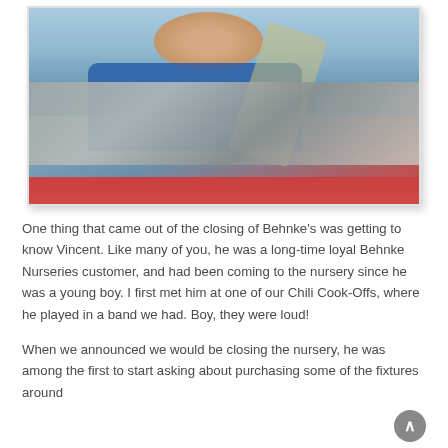[Figure (photo): A man wearing a blue Behnke Nurseries shirt sitting in a vehicle, photographed through the windshield. A seat belt is visible diagonally across the frame, and the lower portion shows what appears to be a red truck hood. The windshield/glass area is prominent in the lower half of the image.]
One thing that came out of the closing of Behnke's was getting to know Vincent. Like many of you, he was a long-time loyal Behnke Nurseries customer, and had been coming to the nursery since he was a young boy. I first met him at one of our Chili Cook-Offs, where he played in a band we had. Boy, they were loud!
When we announced we would be closing the nursery, he was among the first to start asking about purchasing some of the fixtures around